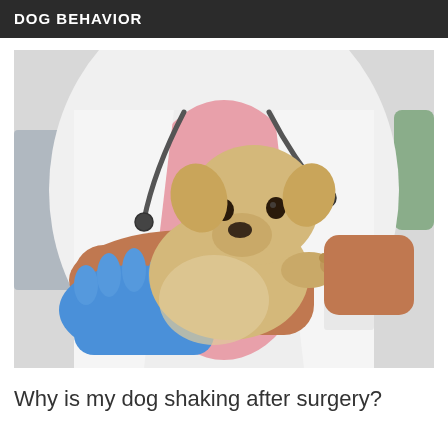DOG BEHAVIOR
[Figure (photo): A veterinarian in a white lab coat and blue latex gloves holds a small golden Labrador puppy against their forearm. A stethoscope is visible around the vet's neck. The puppy rests its head and front paws over the vet's arm, looking toward the camera with a calm expression.]
Why is my dog shaking after surgery?